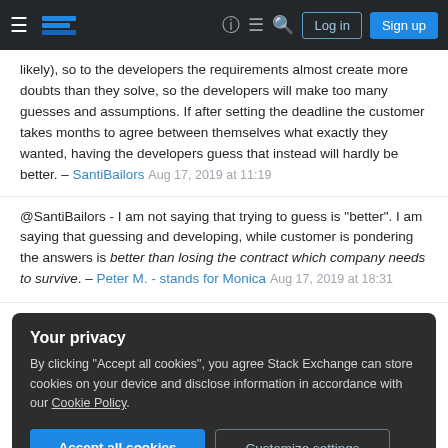Stack Exchange navigation bar with hamburger menu, logo, help, chat, search icons, Log in and Sign up buttons
likely), so to the developers the requirements almost create more doubts than they solve, so the developers will make too many guesses and assumptions. If after setting the deadline the customer takes months to agree between themselves what exactly they wanted, having the developers guess that instead will hardly be better. – SantiBailors Aug 17, 2019 at 11:19
@SantiBailors - I am not saying that trying to guess is "better". I am saying that guessing and developing, while customer is pondering the answers is better than losing the contract which company needs to survive. – Peter M. - stands for Monica Aug 17, 2019 at 18:31
Your privacy
By clicking "Accept all cookies", you agree Stack Exchange can store cookies on your device and disclose information in accordance with our Cookie Policy.
Accept all cookies
Customize settings